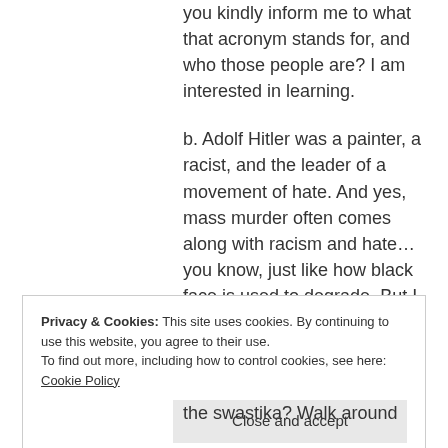you kindly inform me to what that acronym stands for, and who those people are? I am interested in learning.
b. Adolf Hitler was a painter, a racist, and the leader of a movement of hate. And yes, mass murder often comes along with racism and hate... you know, just like how black face is used to degrade. But I admit, Adolf Hitler is such a polarizing figure, it's clouded
Privacy & Cookies: This site uses cookies. By continuing to use this website, you agree to their use. To find out more, including how to control cookies, see here: Cookie Policy
Close and accept
the swastika? Walk around